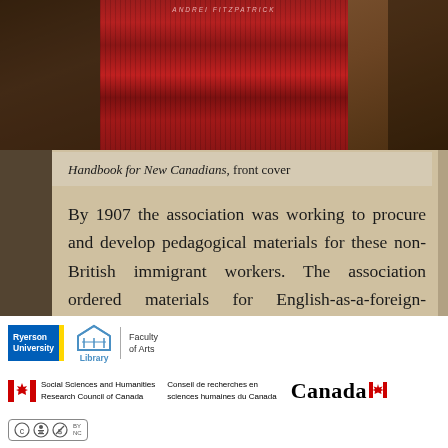[Figure (photo): Top portion of a page showing a red book cover (Handbook for New Canadians) against a dark background with vintage document styling]
Handbook for New Canadians, front cover
By 1907 the association was working to procure and develop pedagogical materials for these non-British immigrant workers. The association ordered materials for English-as-a-foreign-language instruction from the United States, for example, where civic education efforts, fuelled by the early twentieth-century progressive
[Figure (logo): Ryerson University logo, Library logo, and Faculty of Arts logos]
[Figure (logo): Social Sciences and Humanities Research Council of Canada / Conseil de recherches en sciences humaines du Canada and Canada wordmark logos]
[Figure (logo): Creative Commons BY NC license badge]